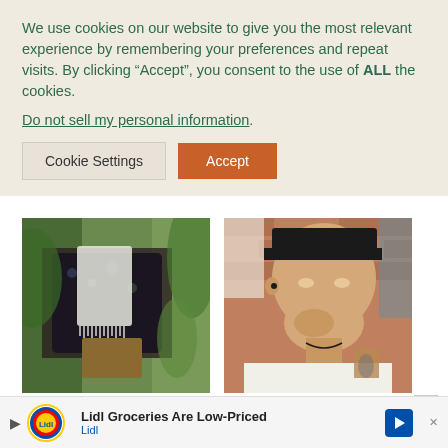We use cookies on our website to give you the most relevant experience by remembering your preferences and repeat visits. By clicking “Accept”, you consent to the use of ALL the cookies.
Do not sell my personal information.
[Figure (photo): Person wearing a dark floral shirt with a white woven towel/scarf around their neck, holding something, with tropical green foliage in the background.]
[Figure (photo): Young man with a black cap, wearing a white tank top, touching his chin with his fingers in a thoughtful pose, with a brick wall background.]
Dan and George are two seasoned backpackers
Lidl Groceries Are Low-Priced
Lidl